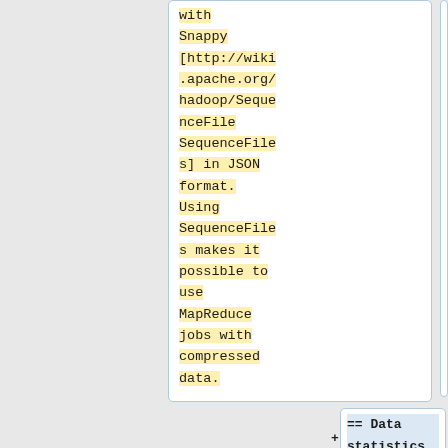with Snappy [http://wiki.apache.org/hadoop/SequenceFile SequenceFiles] in JSON format. Using SequenceFiles makes it possible to use MapReduce jobs with compressed data.
== Data statistics ==